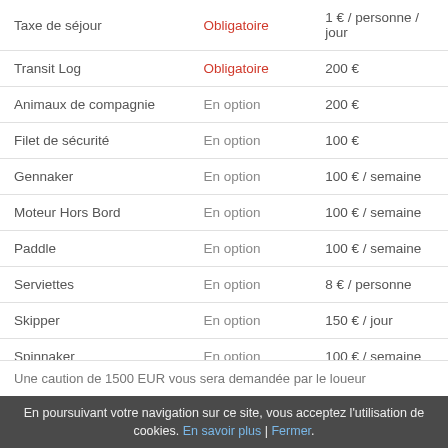|  |  |  |
| --- | --- | --- |
| Taxe de séjour | Obligatoire | 1 € / personne / jour |
| Transit Log | Obligatoire | 200 € |
| Animaux de compagnie | En option | 200 € |
| Filet de sécurité | En option | 100 € |
| Gennaker | En option | 100 € / semaine |
| Moteur Hors Bord | En option | 100 € / semaine |
| Paddle | En option | 100 € / semaine |
| Serviettes | En option | 8 € / personne |
| Skipper | En option | 150 € / jour |
| Spinnaker | En option | 100 € / semaine |
Une caution de 1500 EUR vous sera demandée par le loueur
En poursuivant votre navigation sur ce site, vous acceptez l'utilisation de cookies. En savoir plus | Fermer.